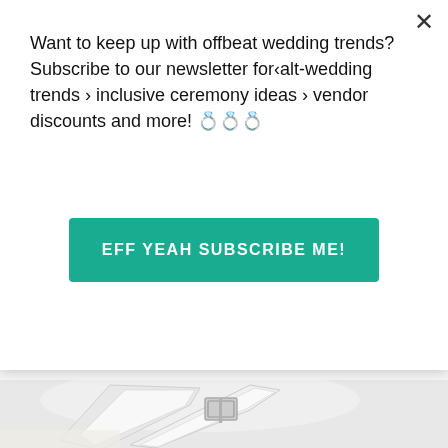Want to keep up with offbeat wedding trends?Subscribe to our newsletter for‹alt-wedding trends › inclusive ceremony ideas › vendor discounts and more! 💍💍💍
EFF YEAH SUBSCRIBE ME!
on Newz Online
[Figure (photo): Close-up of a white strappy wedding sandal with a buckle, photographed against a light grey background]